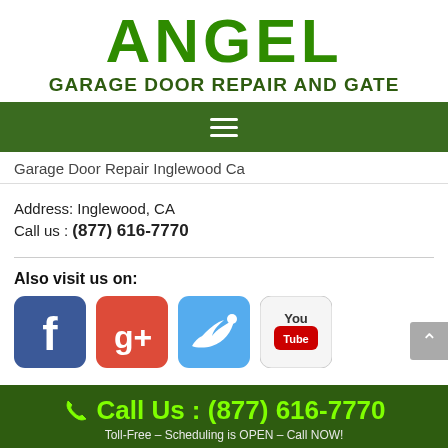ANGEL GARAGE DOOR REPAIR AND GATE
[Figure (other): Navigation hamburger menu icon on dark green background]
Garage Door Repair Inglewood Ca
Address: Inglewood, CA
Call us : (877) 616-7770
Also visit us on:
[Figure (other): Social media icons: Facebook, Google+, Twitter, YouTube]
Call Us : (877) 616-7770 Toll-Free – Scheduling is OPEN – Call NOW!